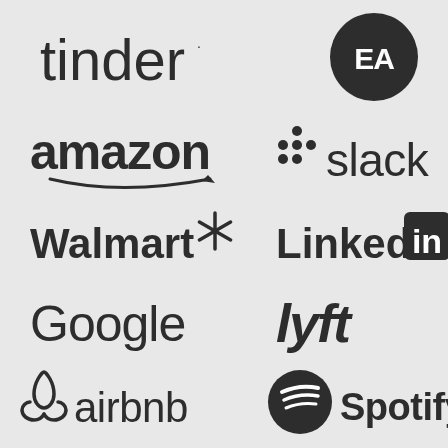[Figure (logo): Tinder logo in dark gray text]
[Figure (logo): EA (Electronic Arts) logo - white EA letters in dark circle]
[Figure (logo): Amazon logo in dark gray bold text with smile arrow]
[Figure (logo): Slack logo - grid plus icon and text]
[Figure (logo): Walmart logo with spark/asterisk icon]
[Figure (logo): LinkedIn logo with 'in' box icon]
[Figure (logo): Google logo in dark gray text]
[Figure (logo): Lyft logo in dark italic bold text]
[Figure (logo): Airbnb logo with belo icon and text]
[Figure (logo): Spotify logo with circle icon and text]